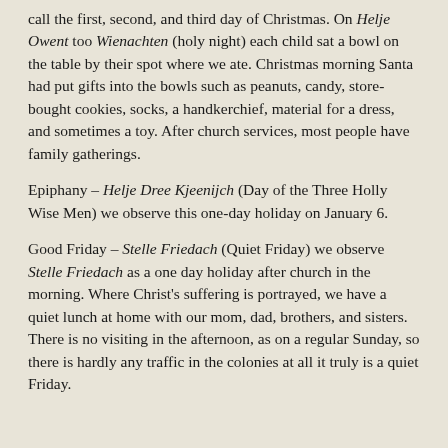call the first, second, and third day of Christmas. On Helje Owent too Wienachten (holy night) each child sat a bowl on the table by their spot where we ate. Christmas morning Santa had put gifts into the bowls such as peanuts, candy, store-bought cookies, socks, a handkerchief, material for a dress, and sometimes a toy. After church services, most people have family gatherings.
Epiphany – Helje Dree Kjeenijch (Day of the Three Holly Wise Men) we observe this one-day holiday on January 6.
Good Friday – Stelle Friedach (Quiet Friday) we observe Stelle Friedach as a one day holiday after church in the morning. Where Christ's suffering is portrayed, we have a quiet lunch at home with our mom, dad, brothers, and sisters. There is no visiting in the afternoon, as on a regular Sunday, so there is hardly any traffic in the colonies at all it truly is a quiet Friday.